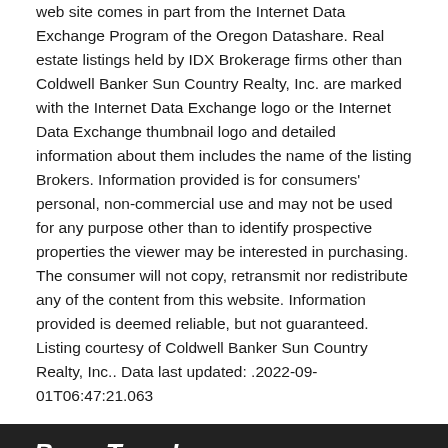web site comes in part from the Internet Data Exchange Program of the Oregon Datashare. Real estate listings held by IDX Brokerage firms other than Coldwell Banker Sun Country Realty, Inc. are marked with the Internet Data Exchange logo or the Internet Data Exchange thumbnail logo and detailed information about them includes the name of the listing Brokers. Information provided is for consumers' personal, non-commercial use and may not be used for any purpose other than to identify prospective properties the viewer may be interested in purchasing. The consumer will not copy, retransmit nor redistribute any of the content from this website. Information provided is deemed reliable, but not guaranteed. Listing courtesy of Coldwell Banker Sun Country Realty, Inc.. Data last updated: .2022-09-01T06:47:21.063
BoomTown! © 2022 | Terms of Use | Privacy Policy | Accessibility | DMCA | Listings Sitemap
Take a Tour
Ask A Question